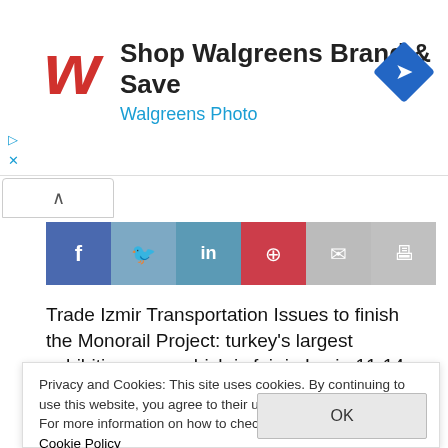[Figure (screenshot): Walgreens advertisement banner with logo, 'Shop Walgreens Brand & Save' text, 'Walgreens Photo' subtitle, and a blue diamond navigation icon]
[Figure (screenshot): Social media sharing buttons: Facebook (dark blue), Twitter (light blue), LinkedIn (medium blue), Pinterest (red), Email (grey), Print (grey)]
Trade Izmir Transportation Issues to finish the Monorail Project: turkey's largest exhibition area, which is fair in Izmir, 11-14 February made between Agriculture and Livestock Fair, the 250 thousand people of visit, temporary access roads of
Privacy and Cookies: This site uses cookies. By continuing to use this website, you agree to their use.
For more information on how to check cookies, see here: Cookie Policy
OK